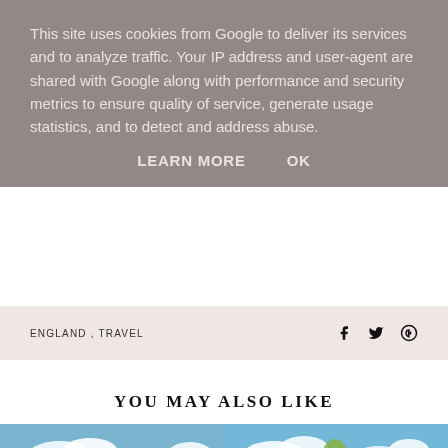This site uses cookies from Google to deliver its services and to analyze traffic. Your IP address and user-agent are shared with Google along with performance and security metrics to ensure quality of service, generate usage statistics, and to detect and address abuse.
LEARN MORE    OK
ENGLAND , TRAVEL
YOU MAY ALSO LIKE
[Figure (photo): Photo of a grand estate building with manicured hedges and a tree-lined path, blue sky with clouds. Overlay text: FAMILY-FRIENDLY LUXURY HOTEL: OUR STAY AT THE ICKWORTH, SUFFOLK]
[Figure (photo): Photo of a waterfront city scene with a weeping willow tree, buildings and blue sky with clouds. Overlay text: OUR FIRST TRIP AS A FAMILY: A CITY BREAK IN NORWICH]